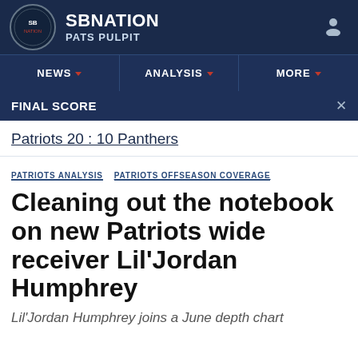SBNATION PATS PULPIT
NEWS  ANALYSIS  MORE
FINAL SCORE
Patriots 20 : 10 Panthers
PATRIOTS ANALYSIS  PATRIOTS OFFSEASON COVERAGE
Cleaning out the notebook on new Patriots wide receiver Lil'Jordan Humphrey
Lil'Jordan Humphrey joins a June depth chart